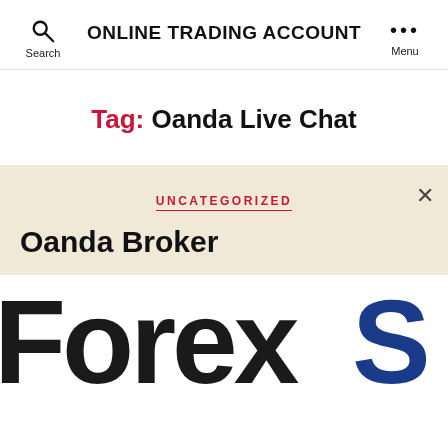ONLINE TRADING ACCOUNT
Tag: Oanda Live Chat
UNCATEGORIZED
Oanda Broker
[Figure (screenshot): Large bold text reading 'ForexS' partially visible, with 'Forex' in near-black and 'S' in dark blue, cropped banner image]